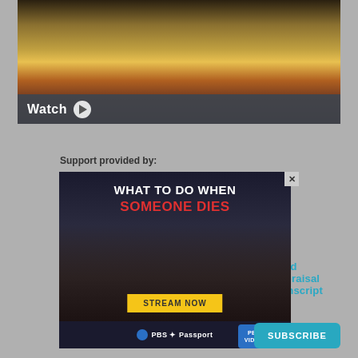[Figure (screenshot): Video thumbnail showing a golden ornamental object with red and yellow elements against a dark background, with a 'Watch' play button overlay bar]
Read Appraisal Transcript +
Support provided by:
Learn more
[Figure (screenshot): Advertisement banner: 'WHAT TO DO WHEN SOMEONE DIES' with a woman's face, Stream Now button, PBS Passport branding at bottom]
SUBSCRIBE